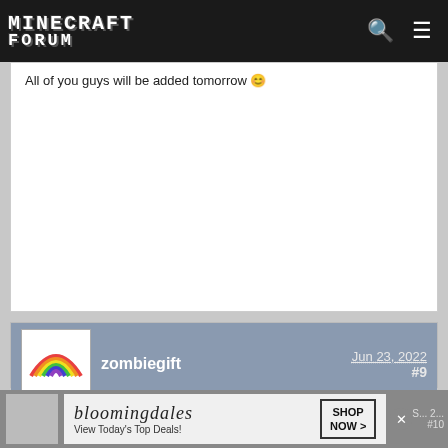Minecraft Forum
All of you guys will be added tomorrow 😊
zombiegift · Jun 23, 2022 · #9
Member Details
change of plan i added all of y'all today